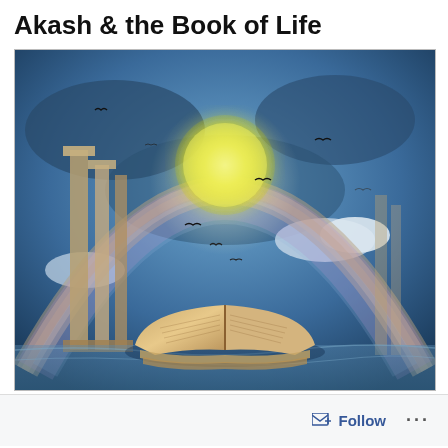Akash & the Book of Life
[Figure (illustration): Fantasy illustration showing an open ancient book floating on water, with a large glowing moon above it, an ornate stone arch forming a rainbow shape in the background, ancient stone columns on the left side, birds flying in a stormy blue sky with clouds, and a translucent rainbow arch overlay.]
Follow ...